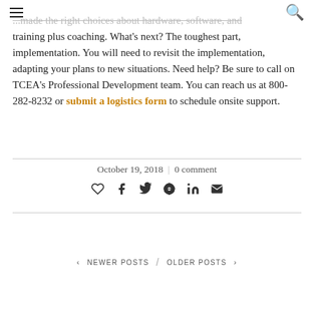≡ [menu icon] ... [search icon]
...made the right choices about hardware, software, and training plus coaching. What's next? The toughest part, implementation. You will need to revisit the implementation, adapting your plans to new situations. Need help? Be sure to call on TCEA's Professional Development team. You can reach us at 800-282-8232 or submit a logistics form to schedule onsite support.
October 19, 2018 | 0 comment
[Figure (other): Social sharing icons: heart, facebook, twitter, pinterest, linkedin, email]
< NEWER POSTS / OLDER POSTS >